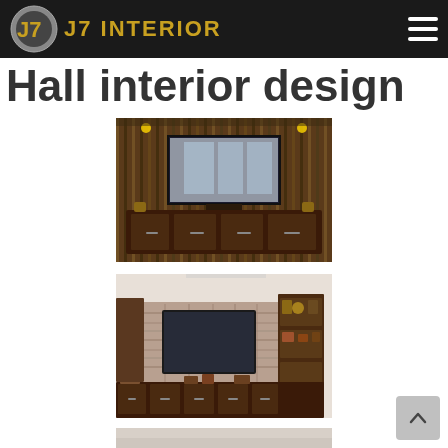J7 INTERIOR
Hall interior design
[Figure (photo): Hall interior design photo 1: TV unit with wooden panel wall, mounted flat screen TV, decorative items and dark wooden cabinet below with ambient golden lights]
[Figure (photo): Hall interior design photo 2: TV unit with stone-textured wall surround, mounted flat screen TV, dark wooden cabinet with multiple drawers, decorative shelf unit on the right with artifacts]